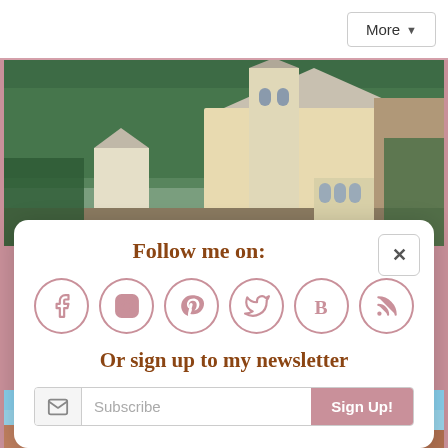[Figure (screenshot): Top navigation bar with 'More' dropdown button]
[Figure (photo): Neuschwanstein Castle surrounded by dense forest, white towers visible]
Follow me on:
[Figure (illustration): Social media icons in circles: Facebook, Instagram, Pinterest, Twitter, Bloglovin, RSS]
Or sign up to my newsletter
Subscribe
Sign Up!
[Figure (photo): Bottom snippet of a church or cathedral building with blue sky]